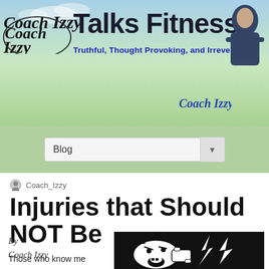Coach Izzy Talks Fitness — Truthful, Thought Provoking, and Irreverent
[Figure (screenshot): Website header banner with gradient green-blue background, 'Coach Izzy' script logo on left, 'Talks Fitness' bold title, subtitle 'Truthful, Thought Provoking, and Irreverent' in blue, Coach Izzy signature, and a photo of a man in dark shirt on the right]
Blog
Coach_Izzy
Injuries that Should NOT Be
By
Coach Izzy
[Figure (illustration): Black and white cartoon illustration of an angry man shouting into a telephone with a lightning bolt]
Those who know me